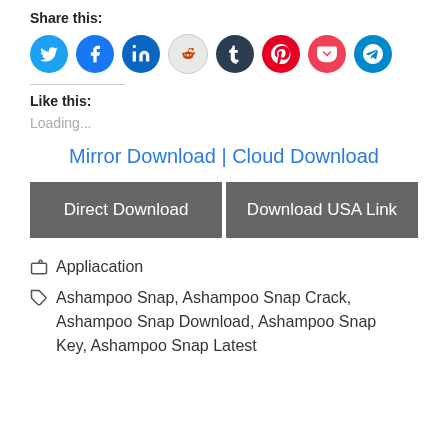Share this:
[Figure (infographic): Row of social media share icons: Twitter (blue bird), Facebook (blue f), LinkedIn (blue in), Reddit (light gray alien), Tumblr (dark navy t), Pinterest (red P), Pocket (red bookmark), Telegram (blue paper plane)]
Like this:
Loading...
Mirror Download | Cloud Download
Direct Download
Download USA Link
Appliacation
Ashampoo Snap, Ashampoo Snap Crack, Ashampoo Snap Download, Ashampoo Snap Key, Ashampoo Snap Latest